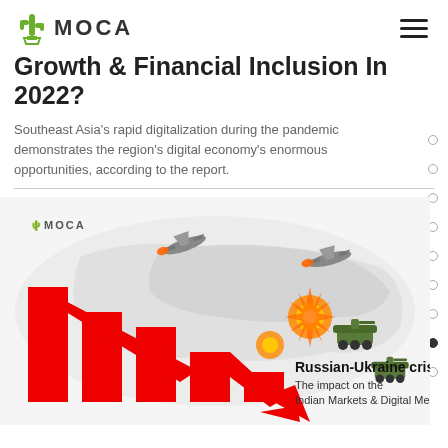MOCA
Growth & Financial Inclusion In 2022?
Southeast Asia's rapid digitalization during the pandemic demonstrates the region's digital economy's enormous opportunities, according to the report.
[Figure (infographic): Infographic showing declining bar chart with a downward red arrow overlaid on a world map with military aircraft and tanks imagery. Text reads: 'Russian-Ukraine crisis: The impact on the Indian Markets & Digital Media'. MOCA logo visible top left of image.]